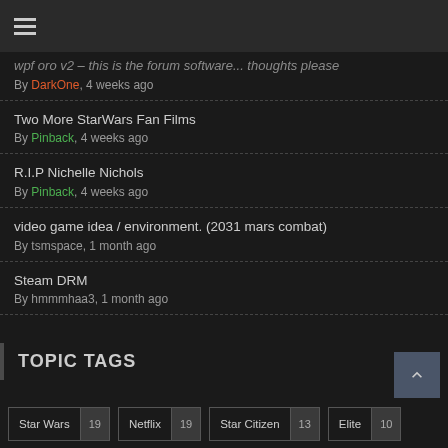≡ (menu)
wpf oro v2 – this is the forum software... thoughts please
By DarkOne, 4 weeks ago
Two More StarWars Fan Films
By Pinback, 4 weeks ago
R.I.P Nichelle Nichols
By Pinback, 4 weeks ago
video game idea / environment. (2031 mars combat)
By tsmspace, 1 month ago
Steam DRM
By hmmmhaa3, 1 month ago
TOPIC TAGS
Star Wars 19  Netflix 19  Star Citizen 13  Elite 10